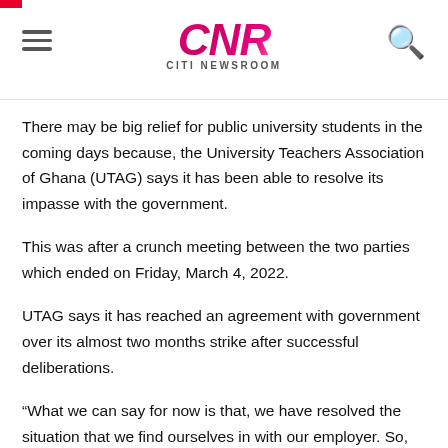CNR CITI NEWSROOM
There may be big relief for public university students in the coming days because, the University Teachers Association of Ghana (UTAG) says it has been able to resolve its impasse with the government.
This was after a crunch meeting between the two parties which ended on Friday, March 4, 2022.
UTAG says it has reached an agreement with government over its almost two months strike after successful deliberations.
“What we can say for now is that, we have resolved the situation that we find ourselves in with our employer. So, as we speak, we have been able to settle our differences now. We have moved on”, National Secretary of UTAG, Dr.